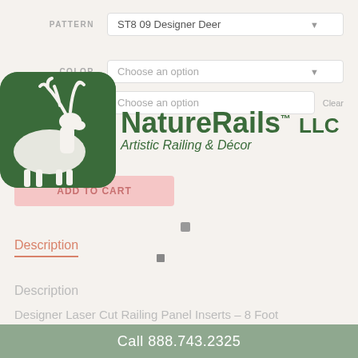PATTERN — ST8 09 Designer Deer
COLOR — Choose an option
LOCATION USAGE — Choose an option — Clear
[Figure (logo): NatureRails LLC logo with moose silhouette icon on dark green rounded square background, text reads NatureRails TM LLC, Artistic Railing & Décor]
ADD TO CART
Description
Description
Designer Laser Cut Railing Panel Inserts – 8 Foot
Call 888.743.2325